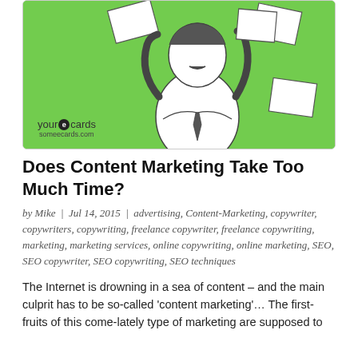[Figure (illustration): Green background ecard illustration showing a man in a suit holding papers with arms raised, seeming frustrated. 'your e cards someecards.com' watermark in bottom left.]
Does Content Marketing Take Too Much Time?
by Mike | Jul 14, 2015 | advertising, Content-Marketing, copywriter, copywriters, copywriting, freelance copywriter, freelance copywriting, marketing, marketing services, online copywriting, online marketing, SEO, SEO copywriter, SEO copywriting, SEO techniques
The Internet is drowning in a sea of content – and the main culprit has to be so-called 'content marketing'… The first-fruits of this come-lately type of marketing are supposed to be enhanced SEO/SERP results, establishing...